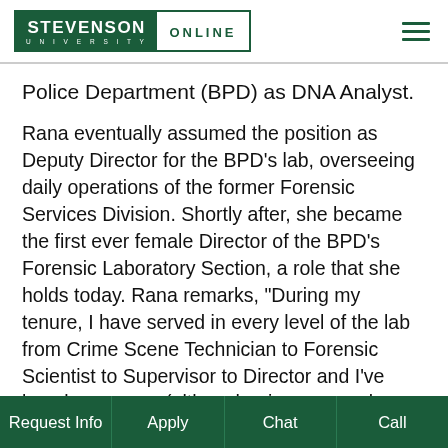STEVENSON UNIVERSITY ONLINE
Police Department (BPD) as DNA Analyst.
Rana eventually assumed the position as Deputy Director for the BPD’s lab, overseeing daily operations of the former Forensic Services Division. Shortly after, she became the first ever female Director of the BPD’s Forensic Laboratory Section, a role that she holds today. Rana remarks, “During my tenure, I have served in every level of the lab from Crime Scene Technician to Forensic Scientist to Supervisor to Director and I’ve loved every one (although crime scene does hold a special place in my heart – it was a once in a lifetime experience). I’ve had an amazing journey.” As an Adjunct Professor for Stevenson University Online,
Request Info | Apply | Chat | Call